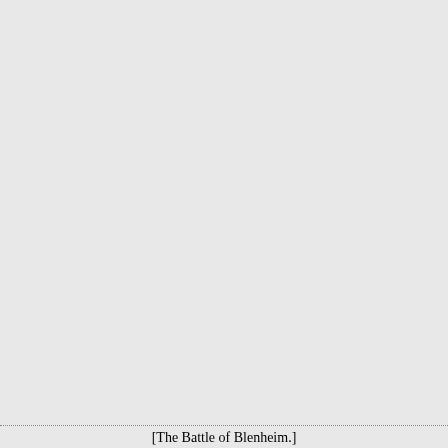Repeats the story of her b
Whilst all the stars that ro
And all the planets in thei
Confirm the tidings as the
And spread the truth from

What, though in solemn si
Move round the dark terre
What though nor real voic
Amid their radiant orbs be
In reason's ear they all rej
And utter forth a glorious
For ever singing, as they s
The hand that made us is d
*The earliest composition that of Addison's, beginning, "How which was music to my boyish
"For though in dreadful wh
    High on the broken wave
"
[The Battle of Blenheim.]